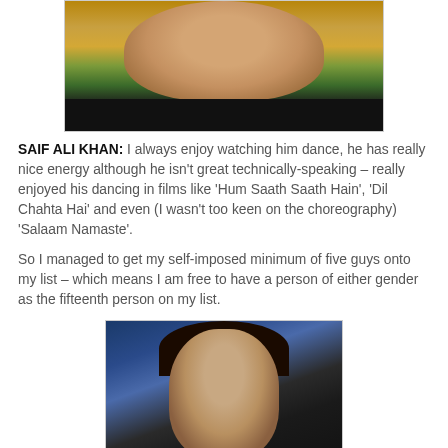[Figure (photo): Photo of a young man (Saif Ali Khan) smiling, with a dark bar at the bottom of the image]
SAIF ALI KHAN: I always enjoy watching him dance, he has really nice energy although he isn't great technically-speaking – really enjoyed his dancing in films like 'Hum Saath Saath Hain', 'Dil Chahta Hai' and even (I wasn't too keen on the choreography) 'Salaam Namaste'.
So I managed to get my self-imposed minimum of five guys onto my list – which means I am free to have a person of either gender as the fifteenth person on my list.
[Figure (photo): Photo of a woman with dark hair against a dark blue background, looking seriously at the camera]